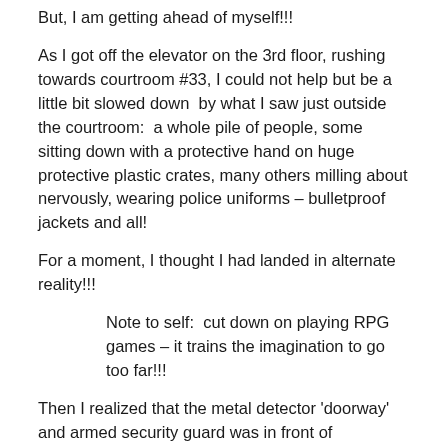But, I am getting ahead of myself!!!
As I got off the elevator on the 3rd floor, rushing towards courtroom #33, I could not help but be a little bit slowed down  by what I saw just outside the courtroom:  a whole pile of people, some sitting down with a protective hand on huge protective plastic crates, many others milling about nervously, wearing police uniforms – bulletproof jackets and all!
For a moment, I thought I had landed in alternate reality!!!
Note to self:  cut down on playing RPG games – it trains the imagination to go too far!!!
Then I realized that the metal detector ‘doorway’ and armed security guard was in front of courtroom #34 – not #33!!!